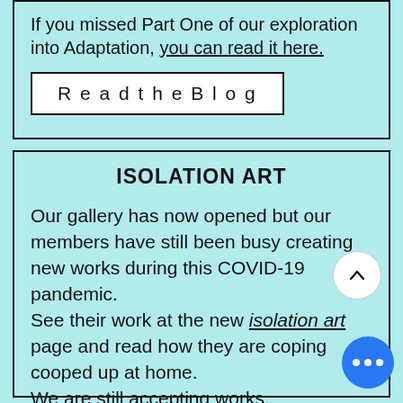If you missed Part One of our exploration into Adaptation, you can read it here.
Read the Blog
ISOLATION ART
Our gallery has now opened but our members have still been busy creating new works during this COVID-19 pandemic. See their work at the new isolation art page and read how they are coping cooped up at home.
We are still accepting works.

For more information and how to contribute go here